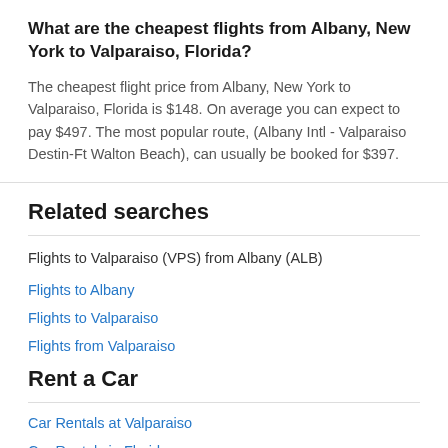What are the cheapest flights from Albany, New York to Valparaiso, Florida?
The cheapest flight price from Albany, New York to Valparaiso, Florida is $148. On average you can expect to pay $497. The most popular route, (Albany Intl - Valparaiso Destin-Ft Walton Beach), can usually be booked for $397.
Related searches
Flights to Valparaiso (VPS) from Albany (ALB)
Flights to Albany
Flights to Valparaiso
Flights from Valparaiso
Rent a Car
Car Rentals at Valparaiso
Car Rentals in Florida